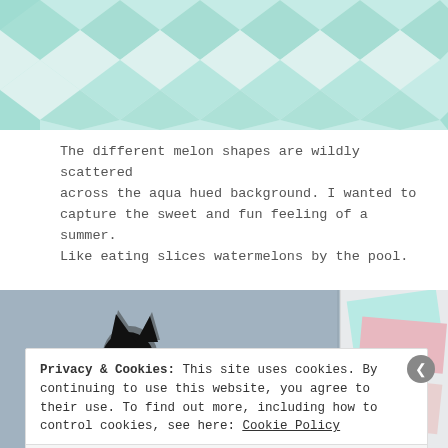[Figure (photo): Close-up of a quilt with aqua/teal and white patchwork geometric pinwheel pattern at the top of the page]
The different melon shapes are wildly scattered across the aqua hued background. I wanted to capture the sweet and fun feeling of a summer. Like eating slices watermelons by the pool.
[Figure (photo): Two-panel photo: left side shows a black cat silhouette, right side shows colorful quilt fabric samples in aqua, pink, red, and light blue]
Privacy & Cookies: This site uses cookies. By continuing to use this website, you agree to their use. To find out more, including how to control cookies, see here: Cookie Policy
Close and accept